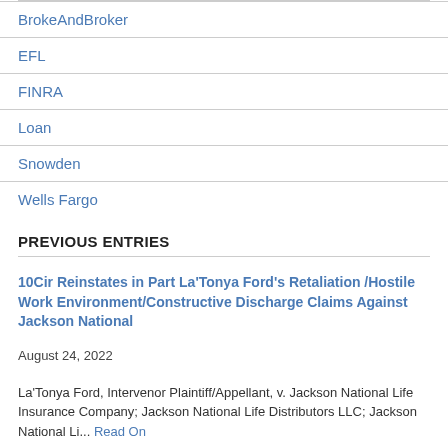BrokeAndBroker
EFL
FINRA
Loan
Snowden
Wells Fargo
PREVIOUS ENTRIES
10Cir Reinstates in Part La'Tonya Ford's Retaliation /Hostile Work Environment/Constructive Discharge Claims Against Jackson National
August 24, 2022
La'Tonya Ford, Intervenor Plaintiff/Appellant, v. Jackson National Life Insurance Company; Jackson National Life Distributors LLC; Jackson National Li... Read On